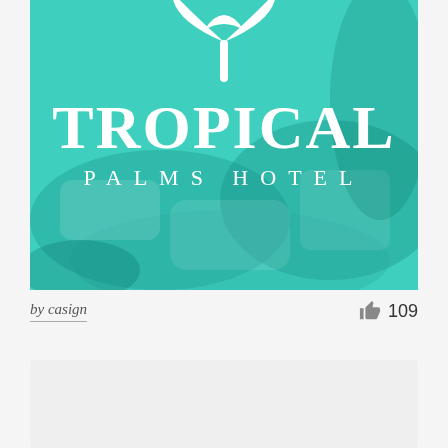[Figure (logo): Tropical Palms Hotel logo on teal/turquoise background with hotel room imagery. Logo shows a palm tree icon above the text 'TROPICAL' in large serif font and 'PALMS HOTEL' in spaced capitals below.]
by casign
109
[Figure (other): Light gray placeholder card/panel at the bottom of the page.]